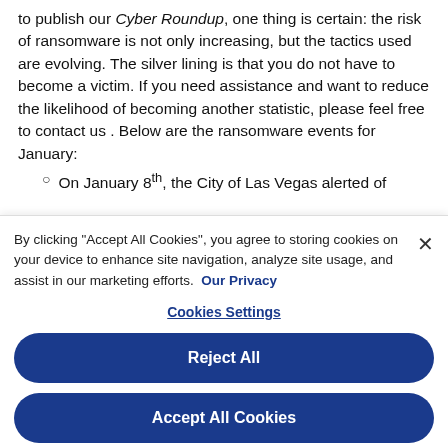to publish our Cyber Roundup, one thing is certain: the risk of ransomware is not only increasing, but the tactics used are evolving. The silver lining is that you do not have to become a victim. If you need assistance and want to reduce the likelihood of becoming another statistic, please feel free to contact us . Below are the ransomware events for January:
On January 8th, the City of Las Vegas alerted of
By clicking "Accept All Cookies", you agree to storing cookies on your device to enhance site navigation, analyze site usage, and assist in our marketing efforts. Our Privacy
Cookies Settings
Reject All
Accept All Cookies